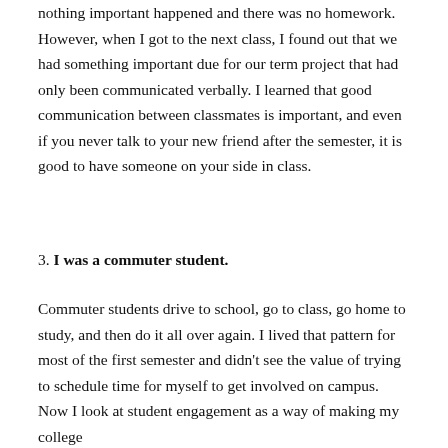nothing important happened and there was no homework. However, when I got to the next class, I found out that we had something important due for our term project that had only been communicated verbally. I learned that good communication between classmates is important, and even if you never talk to your new friend after the semester, it is good to have someone on your side in class.
3. I was a commuter student.
Commuter students drive to school, go to class, go home to study, and then do it all over again. I lived that pattern for most of the first semester and didn't see the value of trying to schedule time for myself to get involved on campus. Now I look at student engagement as a way of making my college